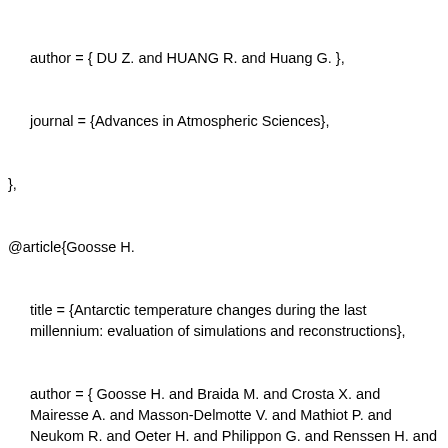author = { DU Z. and HUANG R. and Huang G. },
  journal = {Advances in Atmospheric Sciences},
},
@article{Goosse H.
  title = {Antarctic temperature changes during the last millennium: evaluation of simulations and reconstructions},
  author = { Goosse H. and Braida M. and Crosta X. and Mairesse A. and Masson-Delmotte V. and Mathiot P. and Neukom R. and Oeter H. and Philippon G. and Renssen H. and Stenni B. and van Ommen T. and Verleyen E. },
  journal = {Aerosol Science and Technology},
},
@article{Li G.
  title = {Origins of tropical-wide SST biases in CMIP multi-model ensembles},
  author = { Li G. and Xie S. },
  journal = {Geophysical Research Letters},
  volume = {39},
},
@article{McSweeney C. F.
  title = {No consensus on consensus: The challenge of finding a universal approach to measuring and mapping ensemble consistency in GCM projections},